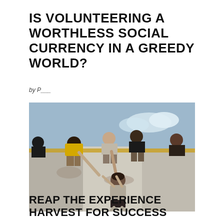IS VOLUNTEERING A WORTHLESS SOCIAL CURRENCY IN A GREEDY WORLD?
by P___
[Figure (photo): People helping each other climb over a large wall during an obstacle course race. Several participants at the top lean down to pull up a person climbing the wall, set against a blue sky background.]
REAP THE EXPERIENCE HARVEST FOR SUCCESS